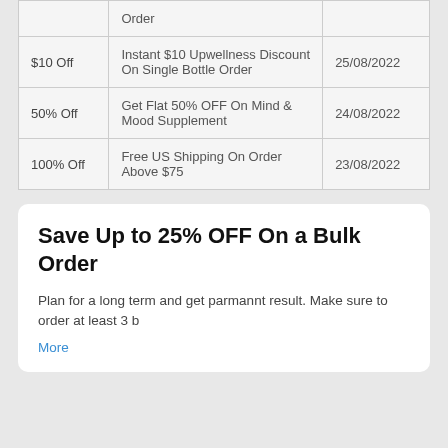|  | Order |  |
| --- | --- | --- |
| $10 Off | Instant $10 Upwellness Discount On Single Bottle Order | 25/08/2022 |
| 50% Off | Get Flat 50% OFF On Mind & Mood Supplement | 24/08/2022 |
| 100% Off | Free US Shipping On Order Above $75 | 23/08/2022 |
Save Up to 25% OFF On a Bulk Order
Plan for a long term and get parmannt result. Make sure to order at least 3 b
More